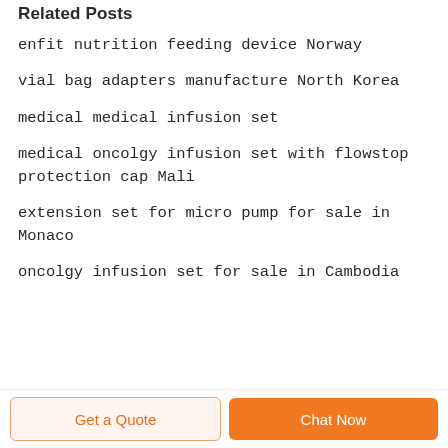Related Posts
enfit nutrition feeding device Norway
vial bag adapters manufacture North Korea
medical medical infusion set
medical oncolgy infusion set with flowstop protection cap Mali
extension set for micro pump for sale in Monaco
oncolgy infusion set for sale in Cambodia